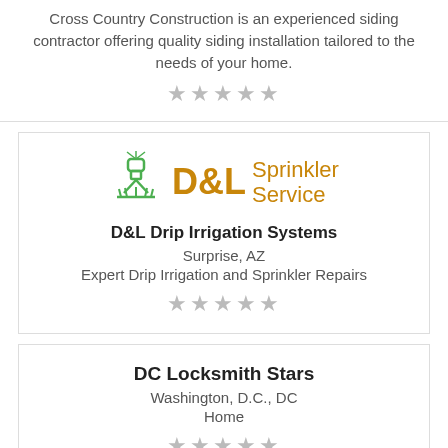Cross Country Construction is an experienced siding contractor offering quality siding installation tailored to the needs of your home.
★★★★★
[Figure (logo): D&L Sprinkler Service logo with green sprinkler icon and orange text]
D&L Drip Irrigation Systems
Surprise, AZ
Expert Drip Irrigation and Sprinkler Repairs
★★★★★
DC Locksmith Stars
Washington, D.C., DC
Home
★★★★★